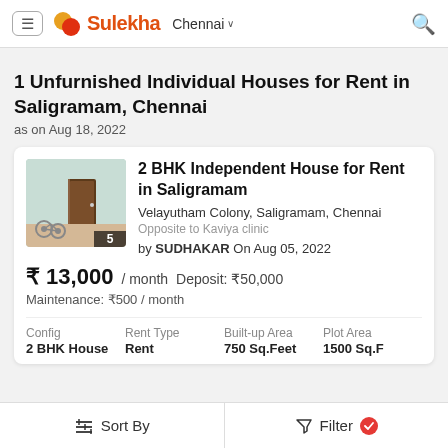Sulekha Chennai
1 Unfurnished Individual Houses for Rent in Saligramam, Chennai
as on Aug 18, 2022
2 BHK Independent House for Rent in Saligramam
Velayutham Colony, Saligramam, Chennai
Opposite to Kaviya clinic
by SUDHAKAR On Aug 05, 2022
₹ 13,000 / month   Deposit: ₹50,000
Maintenance: ₹500 / month
| Config | Rent Type | Built-up Area | Plot Area |
| --- | --- | --- | --- |
| 2 BHK House | Rent | 750 Sq.Feet | 1500 Sq.F |
Sort By   Filter